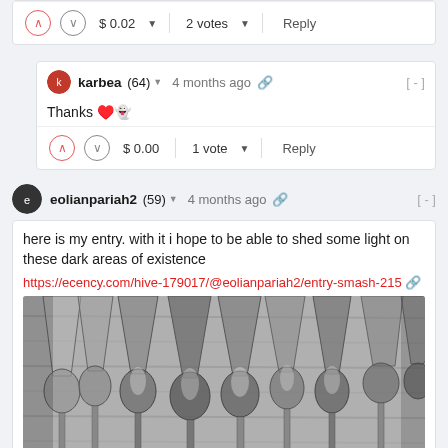$ 0.02  2 votes  Reply
karbea (64) 4 months ago
Thanks ♥️
$ 0.00  1 vote  Reply
eolianpariah2 (59) 4 months ago
here is my entry. with it i hope to be able to shed some light on these dark areas of existence
https://ecency.com/hive-179017/@eolianpariah2/entry-smash-215
[Figure (photo): Black and white photo of multiple tall champagne flute glasses arranged in a row, viewed from below looking up, with light shining through the transparent stems and bulbs]